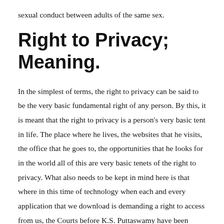sexual conduct between adults of the same sex.
Right to Privacy; Meaning.
In the simplest of terms, the right to privacy can be said to be the very basic fundamental right of any person. By this, it is meant that the right to privacy is a person's very basic tent in life. The place where he lives, the websites that he visits, the office that he goes to, the opportunities that he looks for in the world all of this are very basic tenets of the right to privacy. What also needs to be kept in mind here is that where in this time of technology when each and every application that we download is demanding a right to access from us, the Courts before K.S. Puttaswamy have been